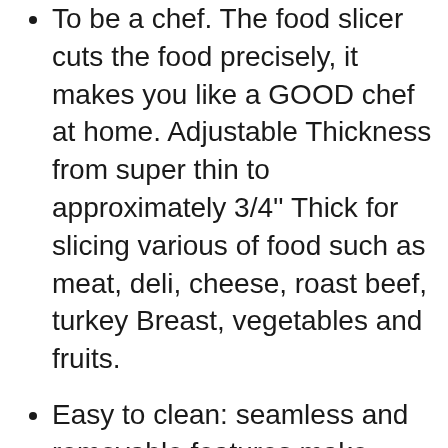To be a chef. The food slicer cuts the food precisely, it makes you like a GOOD chef at home. Adjustable Thickness from super thin to approximately 3/4'' Thick for slicing various of food such as meat, deli, cheese, roast beef, turkey Breast, vegetables and fruits.
Easy to clean: seamless and removable features make sanitation a breeze. Our removable ring-guard cover prevents debris buildup on cutting surfaces. The blade, food carriage, slide-rod extension and food pusher are removable, it allows for thorough cleaning and sanitation.
Safety protection: to operate the deli slicer, you must press both the safety